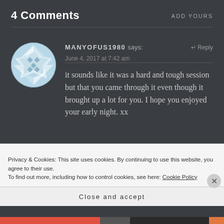4 Comments
ADD YOURS
MANYOFUS1980 says:
↵ Reply
June 4, 2017 at 7:42 am
it sounds like it was a hard and tough session but that you came through it even though it brought up a lot for you. I hope you enjoyed your early night. xx
Privacy & Cookies: This site uses cookies. By continuing to use this website, you agree to their use.
To find out more, including how to control cookies, see here: Cookie Policy
Close and accept